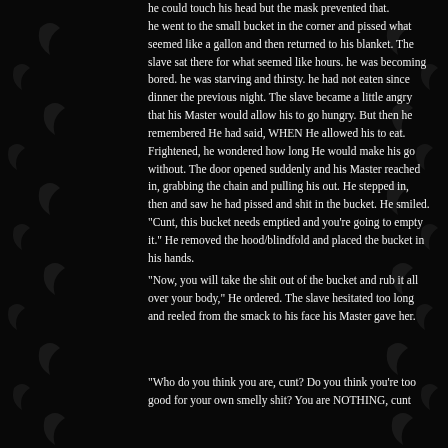he could touch his head but the mask prevented that.
he went to the small bucket in the corner and pissed what seemed like a gallon and then returned to his blanket. The slave sat there for what seemed like hours. he was becoming bored. he was starving and thirsty. he had not eaten since dinner the previous night. The slave became a little angry that his Master would allow his to go hungry. But then he remembered He had said, WHEN He allowed his to eat. Frightened, he wondered how long He would make his go without. The door opened suddenly and his Master reached in, grabbing the chain and pulling his out. He stepped in, then and saw he had pissed and shit in the bucket. He smiled. "Cunt, this bucket needs emptied and you're going to empty it." He removed the hood/blindfold and placed the bucket in his hands.
"Now, you will take the shit out of the bucket and rub it all over your body," He ordered. The slave hesitated too long and reeled from the smack to his face his Master gave her.
"Who do you think you are, cunt? Do you think you're too good for your own smelly shit? You are NOTHING, cunt